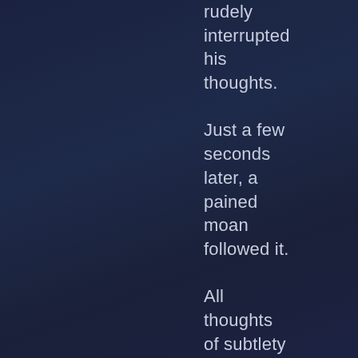rudely interrupted his thoughts. Just a few seconds later, a pained moan followed it. All thoughts of subtlety left Alvin's mind as he charged forward, gun raised to shoot